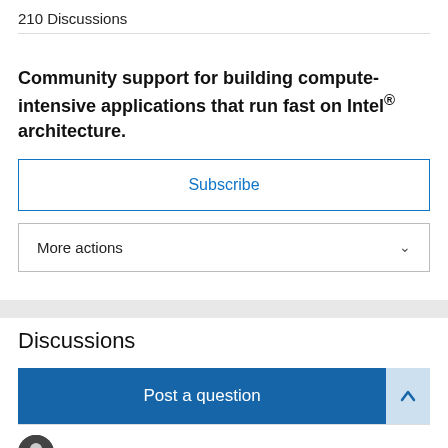210 Discussions
Community support for building compute-intensive applications that run fast on Intel® architecture.
Subscribe
More actions
Discussions
Post a question
How to link DAAL to R?